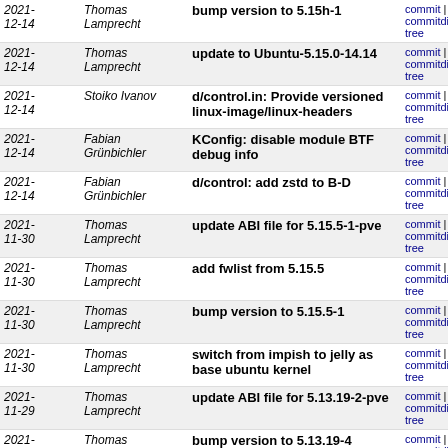| Date | Author | Message | Links |
| --- | --- | --- | --- |
| 2021-12-14 | Thomas Lamprecht | bump version to 5.15h-1 | commit | commitdiff | tree |
| 2021-12-14 | Thomas Lamprecht | update to Ubuntu-5.15.0-14.14 | commit | commitdiff | tree |
| 2021-12-14 | Stoiko Ivanov | d/control.in: Provide versioned linux-image/linux-headers | commit | commitdiff | tree |
| 2021-12-14 | Fabian Grünbichler | KConfig: disable module BTF debug info | commit | commitdiff | tree |
| 2021-12-14 | Fabian Grünbichler | d/control: add zstd to B-D | commit | commitdiff | tree |
| 2021-11-30 | Thomas Lamprecht | update ABI file for 5.15.5-1-pve | commit | commitdiff | tree |
| 2021-11-30 | Thomas Lamprecht | add fwlist from 5.15.5 | commit | commitdiff | tree |
| 2021-11-30 | Thomas Lamprecht | bump version to 5.15.5-1 | commit | commitdiff | tree |
| 2021-11-30 | Thomas Lamprecht | switch from impish to jelly as base ubuntu kernel | commit | commitdiff | tree |
| 2021-11-29 | Thomas Lamprecht | update ABI file for 5.13.19-2-pve | commit | commitdiff | tree |
| 2021-11-29 | Thomas Lamprecht | bump version to 5.13.19-4 | commit | commitdiff | tree |
| 2021-11-29 | Thomas Lamprecht | rebase patches on top of Ubuntu-5.13.0-23.23 | commit | commitdiff | tree |
| 2021-11-29 | Thomas Lamprecht | update sources to Ubuntu-5.13.0-23.23 | commit | commitdiff | tree |
| 2021- | Thomas | drop oboslete ocfs2 patch | commit | commitdiff |